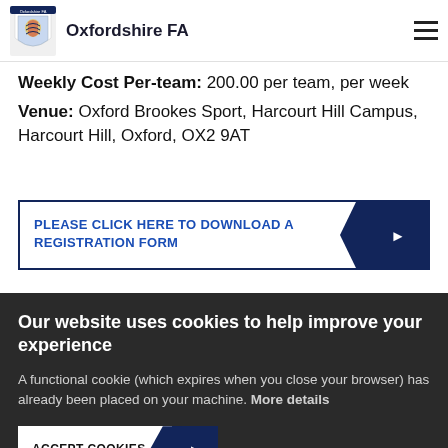Oxfordshire FA
Weekly Cost Per-team: 200.00 per team, per week
Venue: Oxford Brookes Sport, Harcourt Hill Campus, Harcourt Hill, Oxford, OX2 9AT
PLEASE CLICK HERE TO DOWNLOAD A REGISTRATION FORM
Our website uses cookies to help improve your experience
A functional cookie (which expires when you close your browser) has already been placed on your machine. More details
ACCEPT COOKIES